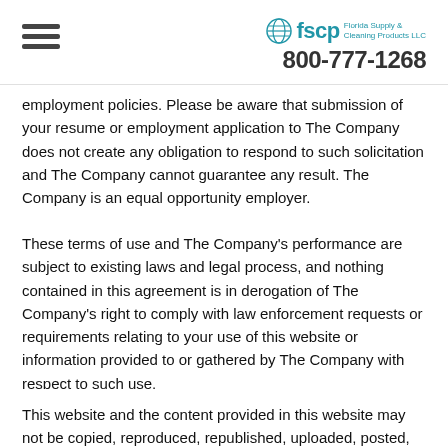fscp Florida Supply & Cleaning Products LLC 800-777-1268
employment policies. Please be aware that submission of your resume or employment application to The Company does not create any obligation to respond to such solicitation and The Company cannot guarantee any result. The Company is an equal opportunity employer.
These terms of use and The Company's performance are subject to existing laws and legal process, and nothing contained in this agreement is in derogation of The Company's right to comply with law enforcement requests or requirements relating to your use of this website or information provided to or gathered by The Company with respect to such use.
This website and the content provided in this website may not be copied, reproduced, republished, uploaded, posted, transmitted or distributed without the written